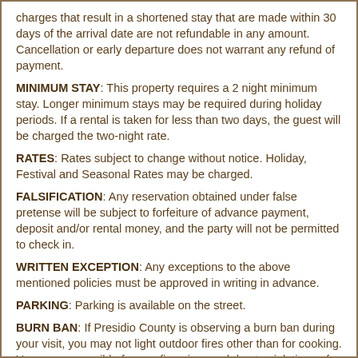charges that result in a shortened stay that are made within 30 days of the arrival date are not refundable in any amount. Cancellation or early departure does not warrant any refund of payment.
MINIMUM STAY: This property requires a 2 night minimum stay. Longer minimum stays may be required during holiday periods. If a rental is taken for less than two days, the guest will be charged the two-night rate.
RATES: Rates subject to change without notice. Holiday, Festival and Seasonal Rates may be charged.
FALSIFICATION: Any reservation obtained under false pretense will be subject to forfeiture of advance payment, deposit and/or rental money, and the party will not be permitted to check in.
WRITTEN EXCEPTION: Any exceptions to the above mentioned policies must be approved in writing in advance.
PARKING: Parking is available on the street.
BURN BAN: If Presidio County is observing a burn ban during your visit, you may not light outdoor fires other than for cooking. You are responsible for any fines incurred due to violations of this ban.
OTHER REFUNDS: No refunds will be given for storms or wildfires unless Marfa is evacuated by the City or State of Texas. Refunds will not be given on the basis of cancelled transportation, illness, or other inconvenient circumstances. We